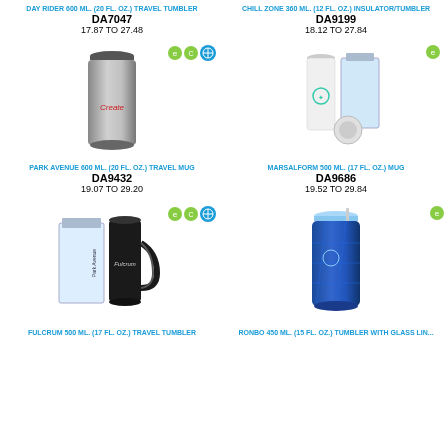DAY RIDER 600 ML. (20 FL. OZ.) TRAVEL TUMBLER
DA7047
17.87 TO 27.48
CHILL ZONE 360 ML. (12 FL. OZ.) INSULATOR/TUMBLER
DA9199
18.12 TO 27.84
[Figure (photo): Park Avenue 600 ML travel mug, stainless steel tumbler with lid branded 'Create', with eco certification icons]
[Figure (photo): Marsalform 500 ML travel mug, white tumbler with teal logo and separate lid, shown with box packaging]
PARK AVENUE 600 ML. (20 FL. OZ.) TRAVEL MUG
DA9432
19.07 TO 29.20
MARSALFORM 500 ML. (17 FL. OZ.) MUG
DA9686
19.52 TO 29.84
[Figure (photo): Fulcrum 500 ML travel tumbler, black handled travel mug with box packaging and eco certification icons]
[Figure (photo): Ronbo 450 ML tumbler with glass liner, blue geometric pattern tumbler with straw]
FULCRUM 500 ML. (17 FL. OZ.) TRAVEL TUMBLER
RONBO 450 ML. (15 FL. OZ.) TUMBLER WITH GLASS LIN...